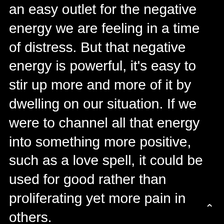an easy outlet for the negative energy we are feeling in a time of distress. But that negative energy is powerful, it's easy to stir up more and more of it by dwelling on our situation. If we were to channel all that energy into something more positive, such as a love spell, it could be used for good rather than proliferating yet more pain in others.
All spells require energy, and the more energy that is put in, the more powerful the spell. This is one reason why love spells can work more quickly when they are cast soon after a breakup. The rawness of the split causes a deep pain, which is packed full of energy.